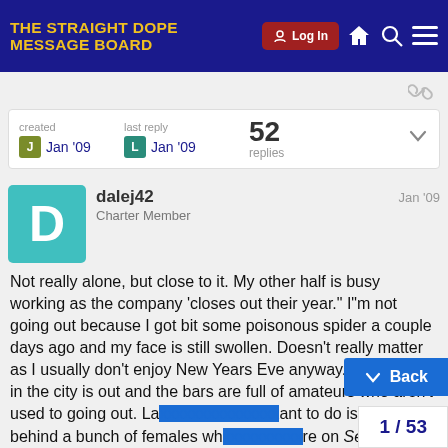THE STRAIGHT DOPE MESSAGE BOARD
| created | last reply |  |
| --- | --- | --- |
| Jan '09 | Jan '09 | 52 replies |
dalej42  Jan '09
Charter Member
Not really alone, but close to it. My other half is busy working as the company 'closes out their year." I"m not going out because I got bit some poisonous spider a couple days ago and my face is still swollen. Doesn't really matter as I usually don't enjoy New Years Eve anyway. Every cop in the city is out and the bars are full of amateurs who aren't used to going out. Last thing I want to do is be stuck behind a bunch of females who are on Sex in the City and trying to order a round of Cosmos while the open and close a tab on New Years Eve w... them!